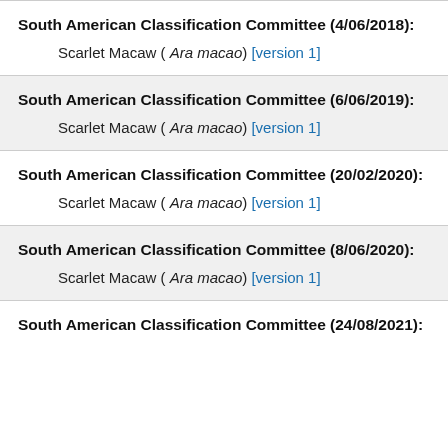South American Classification Committee (4/06/2018):
Scarlet Macaw ( Ara macao) [version 1]
South American Classification Committee (6/06/2019):
Scarlet Macaw ( Ara macao) [version 1]
South American Classification Committee (20/02/2020):
Scarlet Macaw ( Ara macao) [version 1]
South American Classification Committee (8/06/2020):
Scarlet Macaw ( Ara macao) [version 1]
South American Classification Committee (24/08/2021):